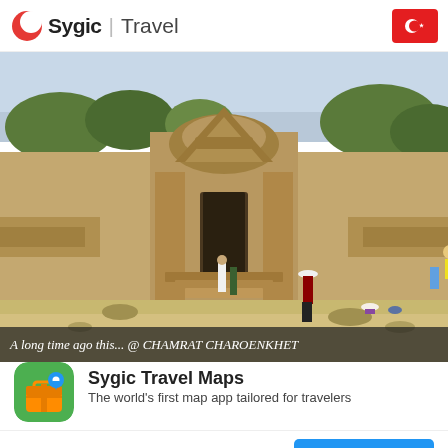Sygic | Travel
[Figure (photo): Photograph of an ancient Khmer/Angkor temple with ornate stone gateway, tourists in foreground on sandy ground, trees in background]
A long time ago this... @ CHAMRAT CHAROENKHET
Sygic Travel Maps
The world's first map app tailored for travelers
Şimdi değil
USE THE APP